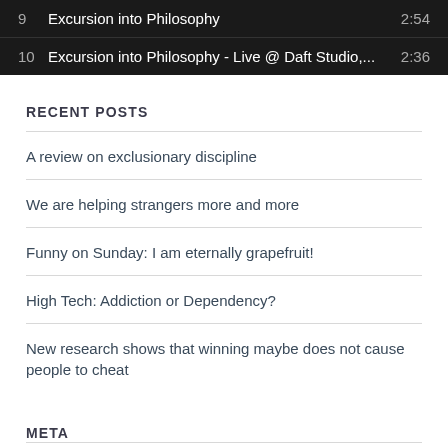[Figure (screenshot): Music player tracklist showing track 9 'Excursion into Philosophy' (2:54) and track 10 'Excursion into Philosophy - Live @ Daft Studio,...' (2:36) on a dark background]
RECENT POSTS
A review on exclusionary discipline
We are helping strangers more and more
Funny on Sunday: I am eternally grapefruit!
High Tech: Addiction or Dependency?
New research shows that winning maybe does not cause people to cheat
META
Register